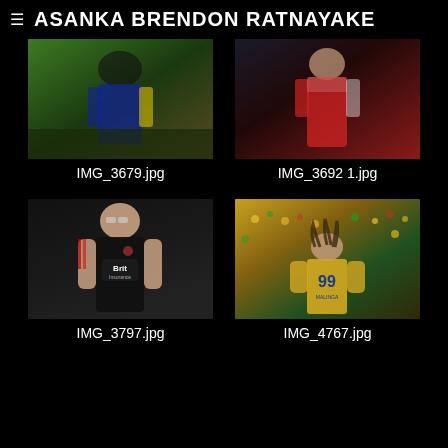≡  ASANKA BRENDON RATNAYAKE
[Figure (photo): Cricket player in blue/yellow kit, partial figure, outdoor field]
IMG_3679.jpg
[Figure (photo): Cricket player in red/white kit, partial figure, dark background]
IMG_3692 1.jpg
[Figure (photo): Male cricketer in black England Brit Insurance vest with sunglasses]
IMG_3797.jpg
[Figure (photo): Sri Lanka player #99 Malinga celebrating in front of a crowd]
IMG_4767.jpg